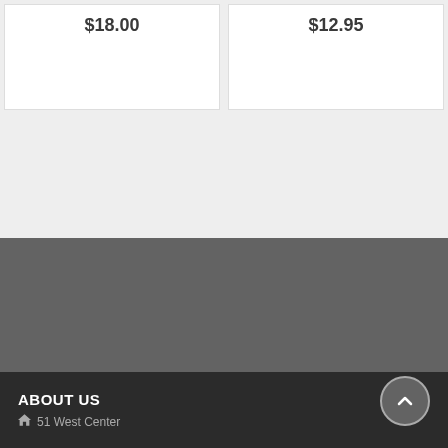$18.00
$12.95
ABOUT US
51 West Center
ABOUT US | 51 West Center